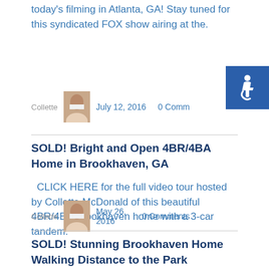today's filming in Atlanta, GA! Stay tuned for this syndicated FOX show airing at the.
[Figure (illustration): Accessibility icon - wheelchair symbol on blue square background]
Collette   July 12, 2016   0 Comm...
SOLD! Bright and Open 4BR/4BA Home in Brookhaven, GA
CLICK HERE for the full video tour hosted by Collette McDonald of this beautiful 4BR/4BA Brookhaven home with a 3-car tandem.
Collette   May 26, 2016   0 Comments
SOLD! Stunning Brookhaven Home Walking Distance to the Park